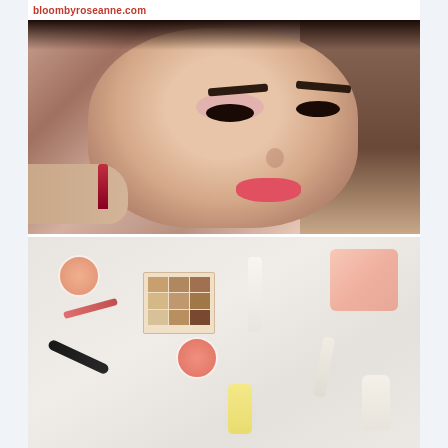bloombyroseanne.com
[Figure (photo): Close-up portrait of a woman receiving lipstick application, with dramatic cat-eye liner, arched brows, pink eyeshadow, and coral-pink lips. A hand holds a lipstick near her mouth.]
[Figure (photo): Flat lay of assorted beauty and makeup products on a marble surface, including an eyeshadow palette, blush pot, mascara, lip liner, tubes, a pink wipes pack, and small bottles.]